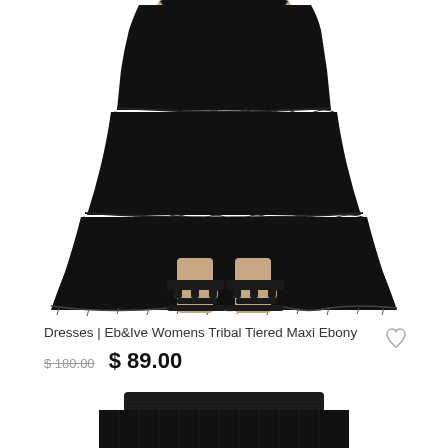[Figure (photo): Lower half of a woman wearing a black tiered maxi dress with fringed hem, paired with black strappy sandals, on white background]
Dresses | Eb&Ive Womens Tribal Tiered Maxi Ebony
$ 180.00  $ 89.00
[Figure (photo): Bottom portion of a black ribbed/knit skirt or top product on white background]